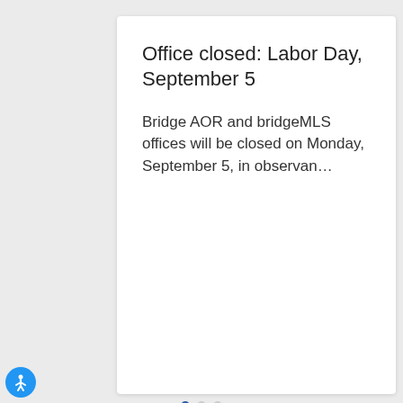Office closed: Labor Day, September 5
Bridge AOR and bridgeMLS offices will be closed on Monday, September 5, in observan…
Contact Us
Hours: Monday - Friday, 9:00 am - 5:00 pm
[Figure (infographic): Bottom navigation bar with icons for News, Calendar, Education, Videos]